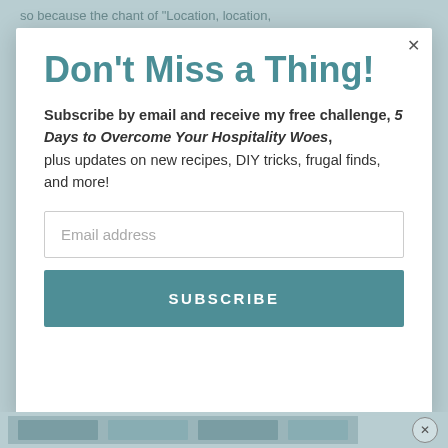so because the chant of "Location, location,
Don't Miss a Thing!
Subscribe by email and receive my free challenge, 5 Days to Overcome Your Hospitality Woes, plus updates on new recipes, DIY tricks, frugal finds, and more!
Email address
SUBSCRIBE